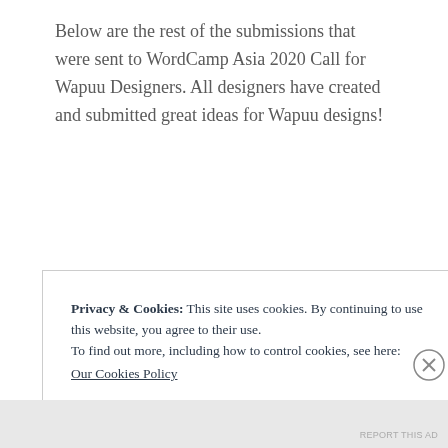Below are the rest of the submissions that were sent to WordCamp Asia 2020 Call for Wapuu Designers. All designers have created and submitted great ideas for Wapuu designs!
Privacy & Cookies: This site uses cookies. By continuing to use this website, you agree to their use.
To find out more, including how to control cookies, see here:
Our Cookies Policy
Close and accept